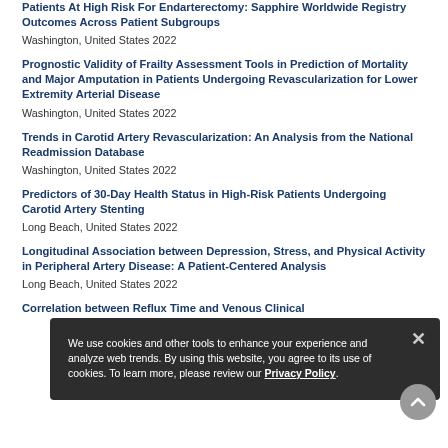Patients At High Risk For Endarterectomy: Sapphire Worldwide Registry Outcomes Across Patient Subgroups
Washington, United States 2022
Prognostic Validity of Frailty Assessment Tools in Prediction of Mortality and Major Amputation in Patients Undergoing Revascularization for Lower Extremity Arterial Disease
Washington, United States 2022
Trends in Carotid Artery Revascularization: An Analysis from the National Readmission Database
Washington, United States 2022
Predictors of 30-Day Health Status in High-Risk Patients Undergoing Carotid Artery Stenting
Long Beach, United States 2022
Longitudinal Association between Depression, Stress, and Physical Activity in Peripheral Artery Disease: A Patient-Centered Analysis
Long Beach, United States 2022
Correlation between Reflux Time and Venous Clinical
We use cookies and other tools to enhance your experience and analyze web trends. By using this website, you agree to its use of cookies. To learn more, please review our Privacy Policy.